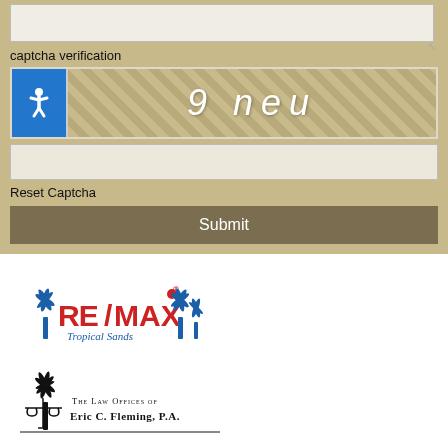[Figure (screenshot): Textarea input box (form element)]
captcha verification
[Figure (screenshot): CAPTCHA image showing '9 neu' with diagonal stripe pattern background, with accessibility button on the left]
[Figure (screenshot): Captcha text input field]
Reset Captcha
[Figure (screenshot): Submit button]
[Figure (logo): RE/MAX Tropical Sands logo with palm trees and red RE/MAX text]
[Figure (logo): The Law Offices of Eric C. Fleming, P.A. logo with palm tree and scales of justice]